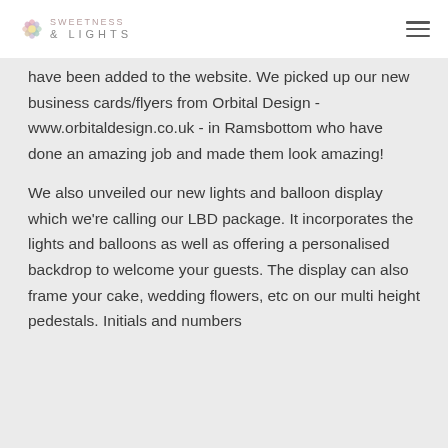SWEETNESS & LIGHTS
have been added to the website. We picked up our new business cards/flyers from Orbital Design - www.orbitaldesign.co.uk - in Ramsbottom who have done an amazing job and made them look amazing!
We also unveiled our new lights and balloon display which we're calling our LBD package. It incorporates the lights and balloons as well as offering a personalised backdrop to welcome your guests. The display can also frame your cake, wedding flowers, etc on our multi height pedestals. Initials and numbers